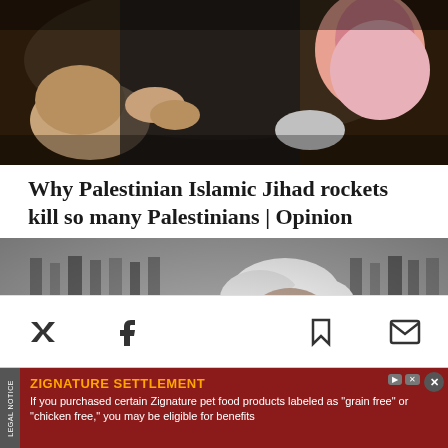[Figure (photo): Color photo of people, appears to show women with hands on chests, dark clothing, one wearing a pink hijab]
Why Palestinian Islamic Jihad rockets kill so many Palestinians | Opinion
[Figure (photo): Black and white photo of an elderly man with white hair and glasses reading a document, with bookshelves in the background]
[Figure (infographic): Mobile app toolbar with Twitter, Facebook, hamburger menu (blue circle), bookmark, and mail icons]
ZIGNATURE SETTLEMENT
If you purchased certain Zignature pet food products labeled as "grain free" or "chicken free," you may be eligible for benefits